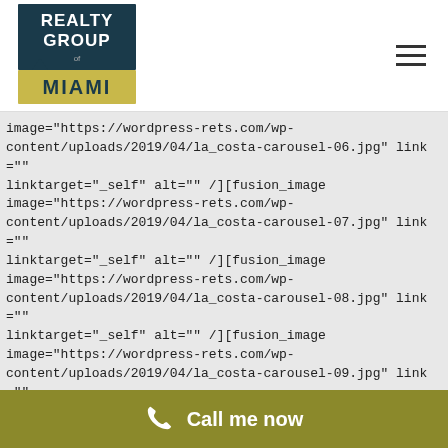[Figure (logo): Realty Group of Miami logo — dark teal rectangle with white text REALTY GROUP above gold MIAMI text with decorative M]
image="https://wordpress-rets.com/wp-content/uploads/2019/04/la_costa-carousel-06.jpg" link="" linktarget="_self" alt="" /][fusion_image image="https://wordpress-rets.com/wp-content/uploads/2019/04/la_costa-carousel-07.jpg" link="" linktarget="_self" alt="" /][fusion_image image="https://wordpress-rets.com/wp-content/uploads/2019/04/la_costa-carousel-08.jpg" link="" linktarget="_self" alt="" /][fusion_image image="https://wordpress-rets.com/wp-content/uploads/2019/04/la_costa-carousel-09.jpg" link="" linktarget="_self" alt="" /][fusion_image
Call me now